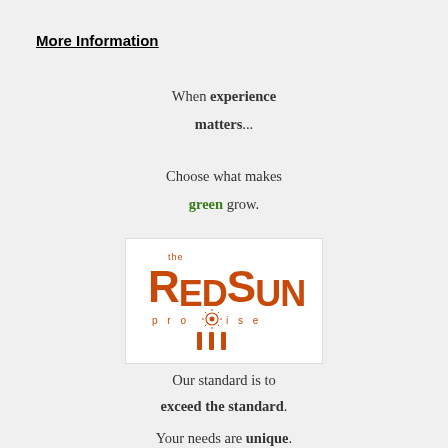More Information
When experience matters...
Choose what makes green grow.
[Figure (logo): The RedSun Promise logo with orange bold text 'REDSUN', small 'the' above, 'promise' below with a sun icon in the middle, and three vertical orange bars at the bottom.]
Our standard is to exceed the standard.
Your needs are unique.